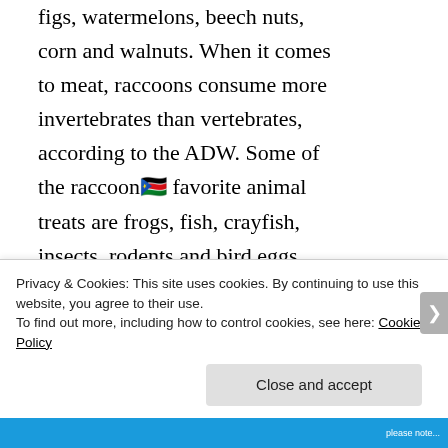figs, watermelons, beech nuts, corn and walnuts. When it comes to meat, raccoons consume more invertebrates than vertebrates, according to the ADW. Some of the raccoon’s favorite animal treats are frogs, fish, crayfish, insects, rodents and bird eggs. When food is scarce, raccoons aren’t above scavenging human trash or eating roadkill.
Privacy & Cookies: This site uses cookies. By continuing to use this website, you agree to their use.
To find out more, including how to control cookies, see here: Cookie Policy